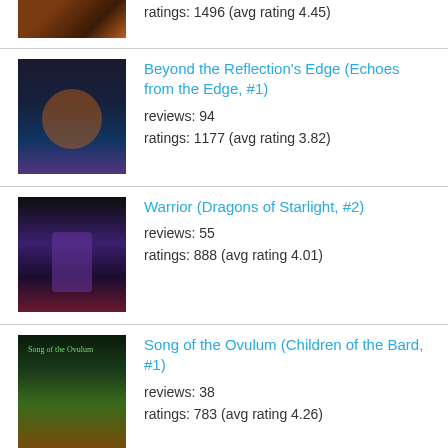ratings: 1496 (avg rating 4.45)
Beyond the Reflection's Edge (Echoes from the Edge, #1)
reviews: 94
ratings: 1177 (avg rating 3.82)
Warrior (Dragons of Starlight, #2)
reviews: 55
ratings: 888 (avg rating 4.01)
Song of the Ovulum (Children of the Bard, #1)
reviews: 38
ratings: 783 (avg rating 4.26)
Eternity's Edge (Echoes from the Edge, #2)
reviews: 27